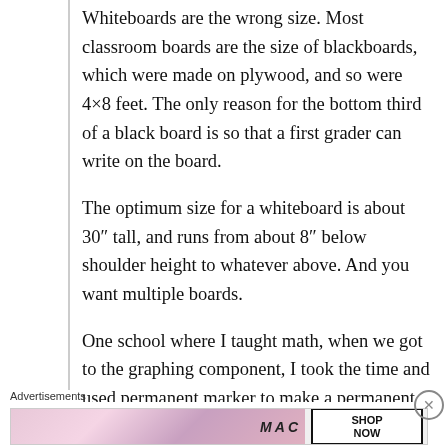Whiteboards are the wrong size. Most classroom boards are the size of blackboards, which were made on plywood, and so were 4×8 feet. The only reason for the bottom third of a black board is so that a first grader can write on the board.
The optimum size for a whiteboard is about 30″ tall, and runs from about 8″ below shoulder height to whatever above. And you want multiple boards.
One school where I taught math, when we got to the graphing component, I took the time and used permanent marker to make a permanent 3×3 foot chunk of graph 'paper' on the board. It wasn't
Advertisements
[Figure (photo): MAC Cosmetics advertisement banner showing lipsticks in purple, peach, and pink colors with MAC logo and a 'SHOP NOW' button in a bordered box.]